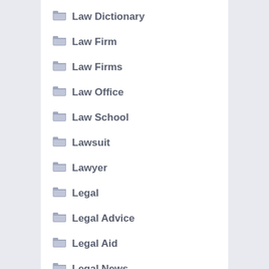Law Dictionary
Law Firm
Law Firms
Law Office
Law School
Lawsuit
Lawyer
Legal
Legal Advice
Legal Aid
Legal News
Litigation